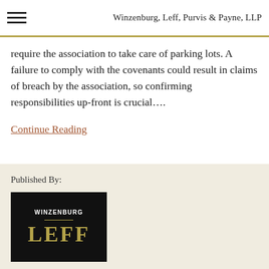Winzenburg, Leff, Purvis & Payne, LLP
require the association to take care of parking lots. A failure to comply with the covenants could result in claims of breach by the association, so confirming responsibilities up-front is crucial....
Continue Reading
Published By:
[Figure (logo): Winzenburg Leff firm logo — black background with gold text reading WINZENBURG above and LEFF in large gold letters below, separated by a gold horizontal rule.]